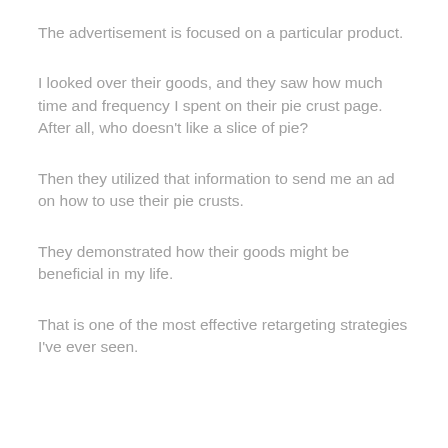The advertisement is focused on a particular product.
I looked over their goods, and they saw how much time and frequency I spent on their pie crust page. After all, who doesn't like a slice of pie?
Then they utilized that information to send me an ad on how to use their pie crusts.
They demonstrated how their goods might be beneficial in my life.
That is one of the most effective retargeting strategies I've ever seen.